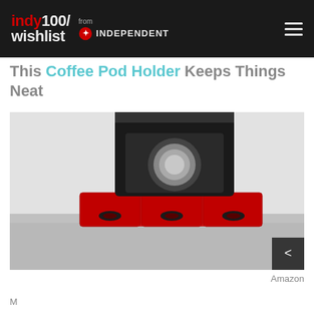indy100/wishlist from INDEPENDENT
This Coffee Pod Holder Keeps Things Neat
[Figure (photo): A red coffee pod holder with three drawers sitting on a countertop beneath a black coffee machine]
Amazon
More text beginning below...